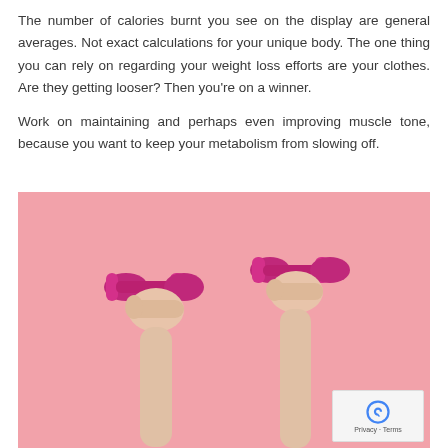The number of calories burnt you see on the display are general averages. Not exact calculations for your unique body. The one thing you can rely on regarding your weight loss efforts are your clothes. Are they getting looser? Then you're on a winner.

Work on maintaining and perhaps even improving muscle tone, because you want to keep your metabolism from slowing off.
[Figure (photo): Two hands raised against a pink background, each holding a pink/magenta dumbbell weight.]